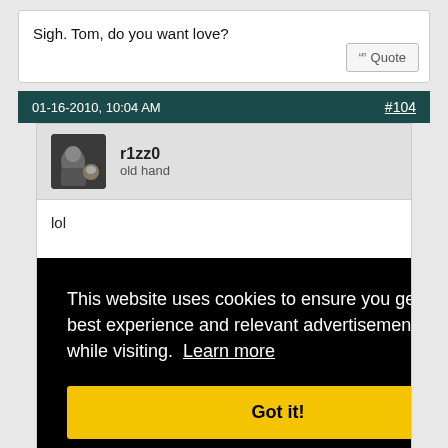Sigh. Tom, do you want love?
Quote
01-16-2010, 10:04 AM   #104
r1zz0
old hand
lol
This website uses cookies to ensure you get the best experience and relevant advertisements while visiting.  Learn more
Got it!
Cleverbot: Hey what.